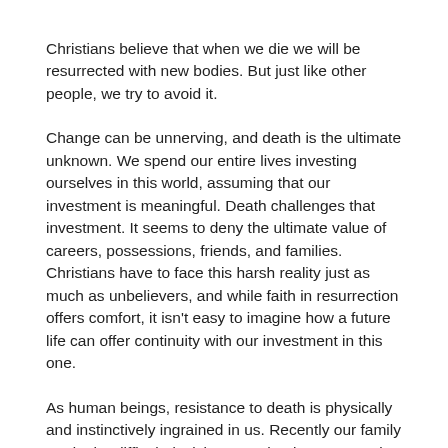Christians believe that when we die we will be resurrected with new bodies. But just like other people, we try to avoid it.
Change can be unnerving, and death is the ultimate unknown. We spend our entire lives investing ourselves in this world, assuming that our investment is meaningful. Death challenges that investment. It seems to deny the ultimate value of careers, possessions, friends, and families. Christians have to face this harsh reality just as much as unbelievers, and while faith in resurrection offers comfort, it isn't easy to imagine how a future life can offer continuity with our investment in this one.
As human beings, resistance to death is physically and instinctively ingrained in us. Recently our family made the difficult decision to euthanize a pet terrier dying painfully of cancer. As I cuddled her in my arms, the veterinarian gave her an injection of anesthesia to relax her and put her to sleep in preparation for the fatal dose of barbiturate that would follow. She was afraid. She fought the drug's relaxing effect, looking at me and making heart-rending sounds.